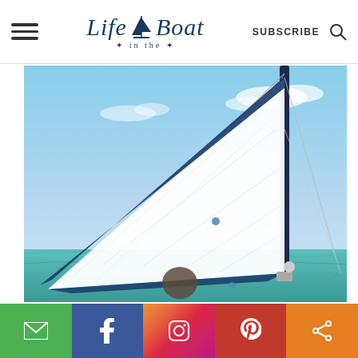Life in the Boat — SUBSCRIBE
[Figure (photo): Close-up view of a white sailboat sail billowing in the wind against a blue sky, with the mast visible on the right side and turquoise ocean water in the background. The sail has a dark blue border along the bottom edge. Ropes and rigging are visible.]
Social sharing bar with email, Facebook, Instagram, Pinterest, and share icons